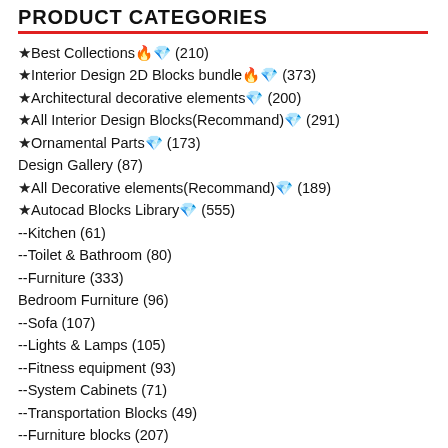PRODUCT CATEGORIES
★ Best Collections 🔥 💎 (210)
★ Interior Design 2D Blocks bundle 🔥 💎 (373)
★ Architectural decorative elements 💎 (200)
★ All Interior Design Blocks(Recommand) 💎 (291)
★ Ornamental Parts 💎 (173)
Design Gallery (87)
★ All Decorative elements(Recommand) 💎 (189)
★ Autocad Blocks Library 💎 (555)
--Kitchen (61)
--Toilet & Bathroom (80)
--Furniture (333)
Bedroom Furniture (96)
--Sofa (107)
--Lights & Lamps (105)
--Fitness equipment (93)
--System Cabinets (71)
--Transportation Blocks (49)
--Furniture blocks (207)
--Bedroom Blocks (123)